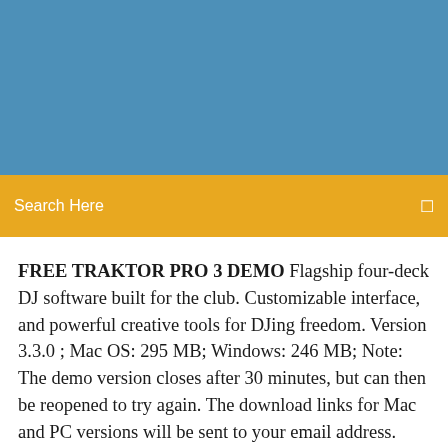[Figure (other): Blue banner header area at top of page]
Search Here
FREE TRAKTOR PRO 3 DEMO Flagship four-deck DJ software built for the club. Customizable interface, and powerful creative tools for DJing freedom. Version 3.3.0 ; Mac OS: 295 MB; Windows: 246 MB; Note: The demo version closes after 30 minutes, but can then be reopened to try again. The download links for Mac and PC versions will be sent to your email address. Email Country and Area We will